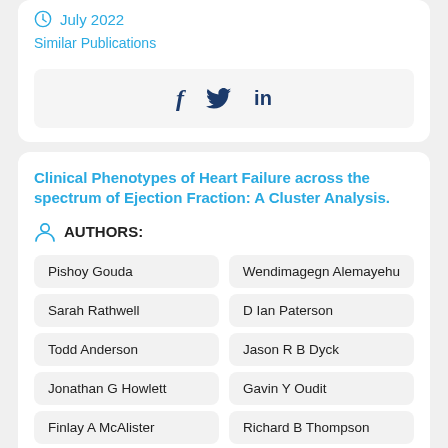July 2022
Similar Publications
[Figure (infographic): Social sharing icons: Facebook (f), Twitter (bird), LinkedIn (in)]
Clinical Phenotypes of Heart Failure across the spectrum of Ejection Fraction: A Cluster Analysis.
AUTHORS:
Pishoy Gouda
Wendimagegn Alemayehu
Sarah Rathwell
D Ian Paterson
Todd Anderson
Jason R B Dyck
Jonathan G Howlett
Gavin Y Oudit
Finlay A McAlister
Richard B Thompson
Justin Ezekowitz